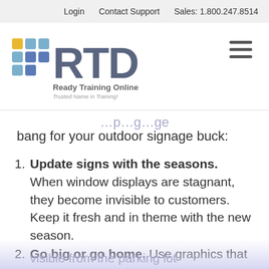Login   Contact Support   Sales: 1.800.247.8514
[Figure (logo): Ready Training Online (RTO) logo with colorful squares and RTD lettering, tagline: Trusted Name in Training!]
bang for your outdoor signage buck:
Update signs with the seasons. When window displays are stagnant, they become invisible to customers. Keep it fresh and in theme with the new season.
Go big or go home. Use graphics that are visible from the parking lot